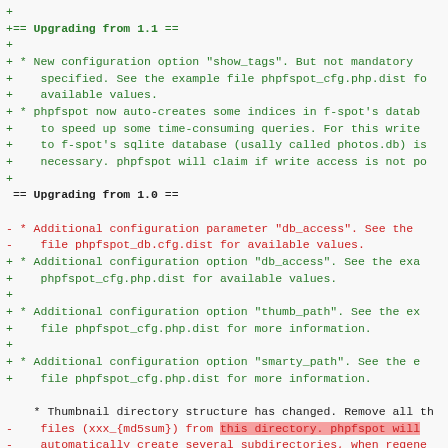Diff output showing upgrade notes from version 1.1 and 1.0 for phpfspot
+ (blank line)
+== Upgrading from 1.1 ==
+ * New configuration option "show_tags". But not mandatory
+   specified. See the example file phpfspot_cfg.php.dist fo
+   available values.
+ * phpfspot now auto-creates some indices in f-spot's datab
+   to speed up some time-consuming queries. For this write
+   to f-spot's sqlite database (usally called photos.db) is
+   necessary. phpfspot will claim if write access is not po
+
== Upgrading from 1.0 ==
- * Additional configuration parameter "db_access". See the
-   file phpfspot_db.cfg.dist for available values.
+ * Additional configuration option "db_access". See the exa
+   phpfspot_cfg.php.dist for available values.
+
+ * Additional configuration option "thumb_path". See the ex
+   file phpfspot_cfg.php.dist for more information.
+
+ * Additional configuration option "smarty_path". See the e
+   file phpfspot_cfg.php.dist for more information.
* Thumbnail directory structure has changed. Remove all th
-   files (xxx_{md5sum}) from this directory. phpfspot will
-   automatically create several subdirectories, when regene
-   the thumbnails.
+   files (xxx_{md5sum}) from your current thumbs-directory.
+   phpfspot will automatically create the needed sub-direct
+   structure when regenerating the thumbnails.